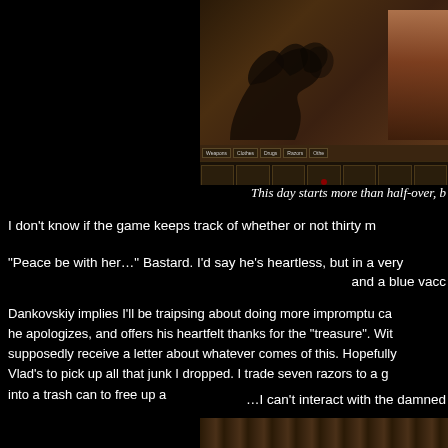[Figure (screenshot): Video game screenshot showing an inventory/character screen with a dark-gloved hand, a humanoid figure on the right side, and UI tabs labeled Weapons, Clothes, Drugs, Razors, and other items in slots at the bottom]
This day starts more than half-over, b
I don't know if the game keeps track of whether or not thirty m
“Peace be with her…” Bastard. I'd say he's heartless, but in a very
and a blue vacc
Dankovskiy implies I’ll be traipsing about doing more impromptu ca he apologizes, and offers his heartfelt thanks for the “treasure”. Wit supposedly receive a letter about whatever comes of this. Hopefully Vlad’s to pick up all that junk I dropped. I trade seven razors to a g into a trash can to free up a
…I can’t interact with the damned
[Figure (screenshot): Bottom portion of a video game screenshot showing wooden interior structures with warm amber/golden lighting]